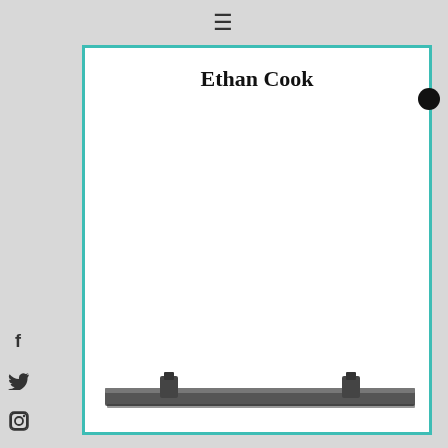☰
Ethan Cook
[Figure (photo): A horizontal metal bar or rod, dark grey/black, with two small mounting brackets, viewed from above against a white background.]
ENG
t twoninethree
[Figure (infographic): Social media icons: Facebook (f), Twitter bird, Instagram camera, Email envelope arranged vertically on the left sidebar.]